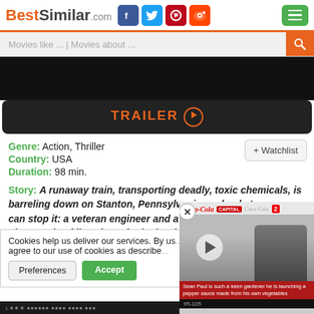BestSimilar.com
Movies like ... | Movies about ...
[Figure (screenshot): Dark video/movie still area]
TRAILER ▶
Genre: Action, Thriller
Country: USA
Duration: 98 min.
+ Watchlist
Story: A runaway train, transporting deadly, toxic chemicals, is barreling down on Stanton, Pennsylvania, and only two men can stop it: a veteran engineer and a young conductor. Thousands of lives hang in the b... heroes attempt to ...
Cookies help us deliver our services. By us... you agree to our use of cookies as describe...
Preferences  Accept
[Figure (screenshot): Video popup overlay showing Sean Paul at a Coca-Cola event with play button]
Sean Paul is such a keen gardener he is launching a pepper sauce made from his own vegetables